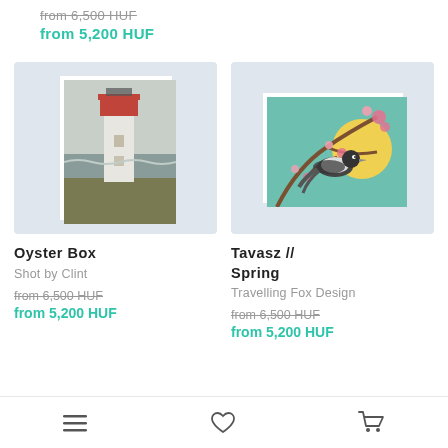from 6,500 HUF (strikethrough)
from 5,200 HUF
[Figure (photo): Lighthouse with red top near ocean shore, photo print on light blue-grey background card]
[Figure (illustration): Bird on blossoming branch with yellow moon on teal background, illustrated art print on light blue-grey background card]
Oyster Box
Shot by Clint
from 6,500 HUF (strikethrough)
from 5,200 HUF
Tavasz // Spring
Travelling Fox Design
from 6,500 HUF (strikethrough)
from 5,200 HUF (partially visible)
Navigation bar with menu, heart, and cart icons